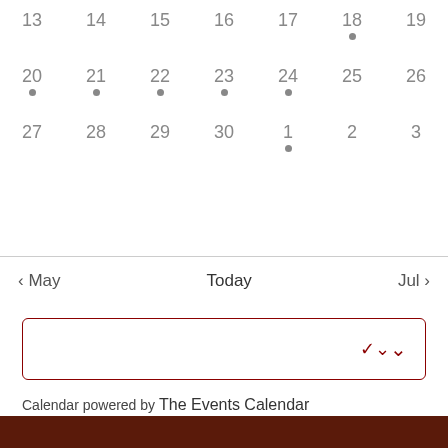[Figure (other): Calendar grid showing dates 13-19 (row 1), 20-26 (row 2), 27-30 and 1-3 (row 3) with dot event indicators on 18, 20, 21, 22, 23, 24, and 1]
< May    Today    Jul >
[Figure (other): Dropdown selector box with dark red border and chevron arrow]
Calendar powered by The Events Calendar